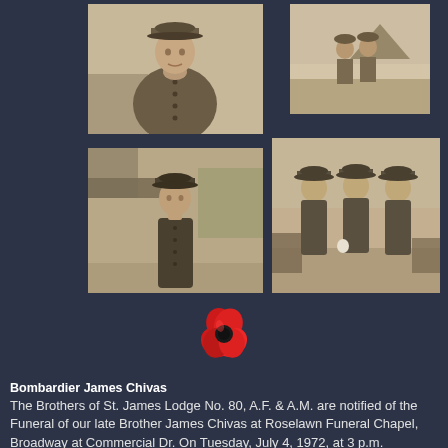[Figure (photo): Sepia-toned photograph of a soldier in uniform and cap standing outdoors]
[Figure (photo): Sepia-toned photograph of two or three people standing in a field, possibly military]
[Figure (photo): Sepia-toned photograph of a soldier in long coat standing in front of an aircraft]
[Figure (photo): Sepia-toned photograph of three soldiers in long military coats and caps standing together outdoors]
[Figure (illustration): Red poppy flower icon with black center, Remembrance Day symbol]
Bombardier James Chivas
The Brothers of St. James Lodge No. 80, A.F. & A.M. are notified of the Funeral of our late Brother James Chivas at Roselawn Funeral Chapel, Broadway at Commercial Dr. On Tuesday, July 4, 1972, at 3 p.m.